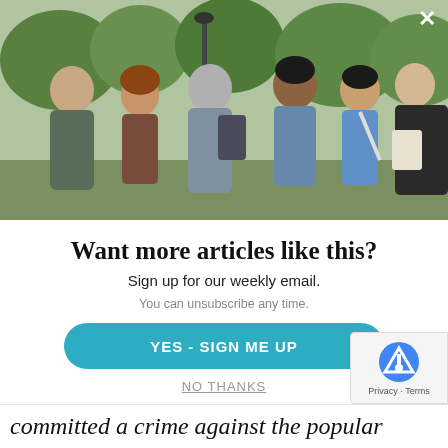[Figure (photo): Group of people (5-6 adults) standing outdoors in a park-like setting, talking and socializing. Green trees and a lamp post visible in the background on a cloudy day.]
Want more articles like this?
Sign up for our weekly email.
You can unsubscribe any time.
YES - SIGN ME UP
NO THANKS
committed a crime against the popular